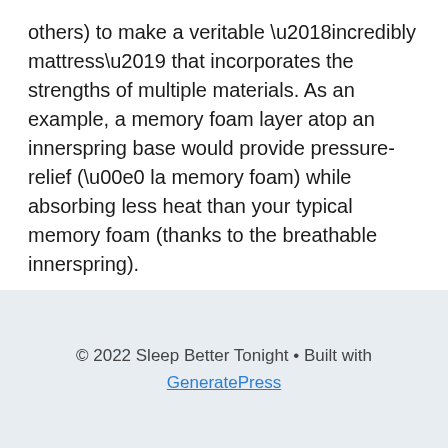others) to make a veritable ‘incredibly mattress’ that incorporates the strengths of multiple materials. As an example, a memory foam layer atop an innerspring base would provide pressure-relief (à la memory foam) while absorbing less heat than your typical memory foam (thanks to the breathable innerspring).
© 2022 Sleep Better Tonight • Built with GeneratePress